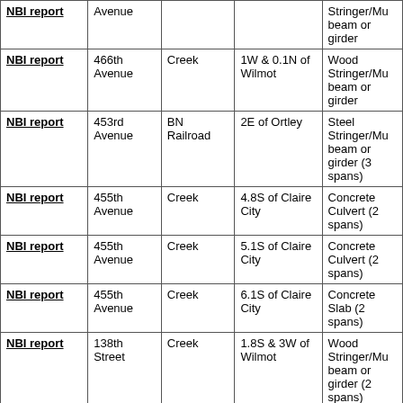| NBI report | Avenue |  |  | Stringer/Mu beam or girder |
| NBI report | 466th Avenue | Creek | 1W & 0.1N of Wilmot | Wood Stringer/Mu beam or girder |
| NBI report | 453rd Avenue | BN Railroad | 2E of Ortley | Steel Stringer/Mu beam or girder (3 spans) |
| NBI report | 455th Avenue | Creek | 4.8S of Claire City | Concrete Culvert (2 spans) |
| NBI report | 455th Avenue | Creek | 5.1S of Claire City | Concrete Culvert (2 spans) |
| NBI report | 455th Avenue | Creek | 6.1S of Claire City | Concrete Slab (2 spans) |
| NBI report | 138th Street | Creek | 1.8S & 3W of Wilmot | Wood Stringer/Mu beam or girder (2 spans) |
| NBI report | 472nd Avenue | N. Fork Whetstone Rv | 2.2N of Corona | Steel Stringer/Mu |